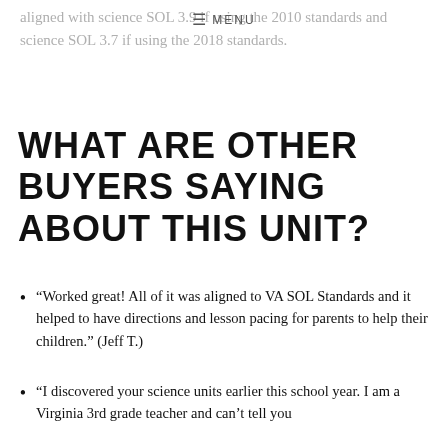aligned with science SOL 3.9 if using the 2010 standards and science SOL 3.7 if using the 2018 standards.
WHAT ARE OTHER BUYERS SAYING ABOUT THIS UNIT?
“Worked great! All of it was aligned to VA SOL Standards and it helped to have directions and lesson pacing for parents to help their children.” (Jeff T.)
“I discovered your science units earlier this school year. I am a Virginia 3rd grade teacher and can’t tell you